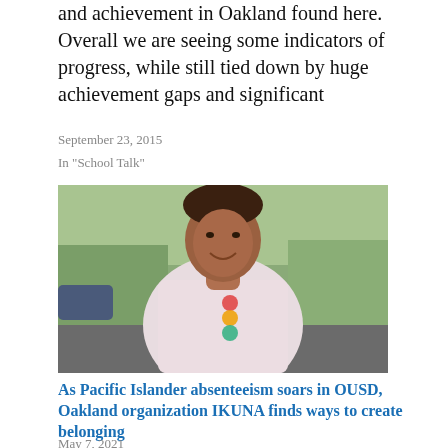and achievement in Oakland found here.  Overall we are seeing some indicators of progress, while still tied down by huge achievement gaps and significant
September 23, 2015
In "School Talk"
[Figure (photo): A man smiling, wearing a light pink t-shirt with a colorful logo, standing outdoors on a street with trees and parked cars in the background.]
As Pacific Islander absenteeism soars in OUSD, Oakland organization IKUNA finds ways to create belonging
May 7, 2021